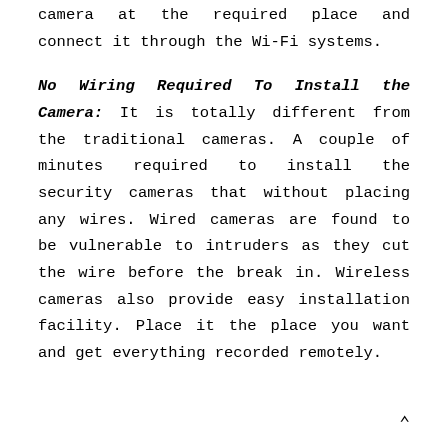camera at the required place and connect it through the Wi-Fi systems.
No Wiring Required To Install the Camera: It is totally different from the traditional cameras. A couple of minutes required to install the security cameras that without placing any wires. Wired cameras are found to be vulnerable to intruders as they cut the wire before the break in. Wireless cameras also provide easy installation facility. Place it the place you want and get everything recorded remotely.